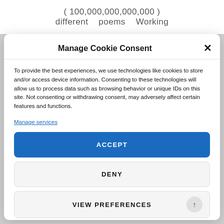( 100,000,000,000,000 )
different  poems  Working
Manage Cookie Consent
To provide the best experiences, we use technologies like cookies to store and/or access device information. Consenting to these technologies will allow us to process data such as browsing behavior or unique IDs on this site. Not consenting or withdrawing consent, may adversely affect certain features and functions.
Manage services
ACCEPT
DENY
VIEW PREFERENCES
Cookie Policy